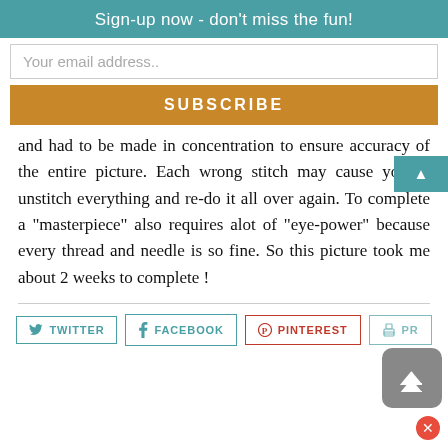Sign-up now - don't miss the fun!
and had to be made in concentration to ensure accuracy of the entire picture. Each wrong stitch may cause you to unstitch everything and re-do it all over again. To complete a “masterpiece” also requires alot of “eye-power” because every thread and needle is so fine. So this picture took me about 2 weeks to complete !
TWITTER   FACEBOOK   PINTEREST   PR...